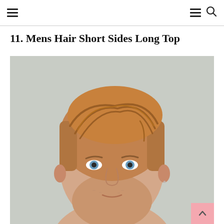☰  ☰ 🔍
11. Mens Hair Short Sides Long Top
[Figure (photo): Close-up portrait of a man with short sides and longer slicked-back hair on top, a fade haircut. He has blue eyes, light stubble, and is looking directly at the camera against a neutral grey background.]